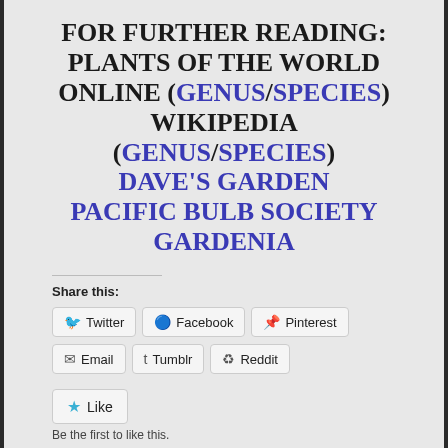FOR FURTHER READING: PLANTS OF THE WORLD ONLINE (GENUS/SPECIES) WIKIPEDIA (GENUS/SPECIES) DAVE'S GARDEN PACIFIC BULB SOCIETY GARDENIA
Share this:
Twitter
Facebook
Pinterest
Email
Tumblr
Reddit
Like
Be the first to like this.